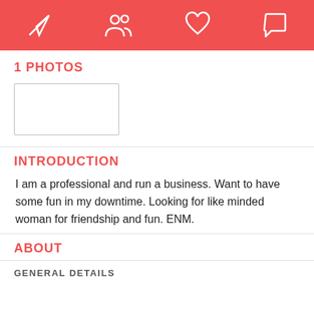[Figure (screenshot): Top navigation bar with red background containing four white outline icons: paper airplane (send), two people (matches), heart (likes), speech bubble (messages)]
1 PHOTOS
[Figure (other): Empty rectangular photo placeholder with light gray border]
INTRODUCTION
I am a professional and run a business. Want to have some fun in my downtime. Looking for like minded woman for friendship and fun. ENM.
ABOUT
GENERAL DETAILS